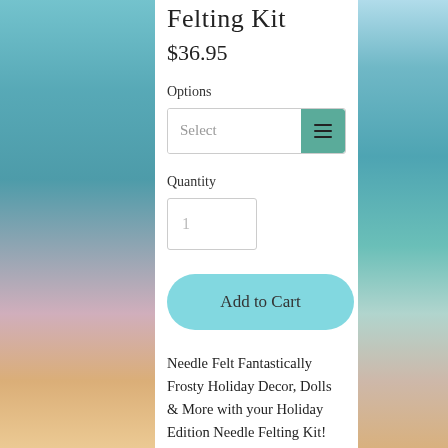Felting Kit
$36.95
Options
Select
Quantity
1
Add to Cart
Needle Felt Fantastically Frosty Holiday Decor, Dolls & More with your Holiday Edition Needle Felting Kit! Your kit includes everything you're going to need to Needle Felt several 'Tis the